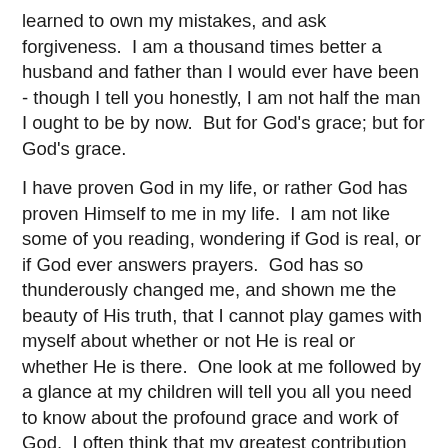learned to own my mistakes, and ask forgiveness.  I am a thousand times better a husband and father than I would ever have been - though I tell you honestly, I am not half the man I ought to be by now.  But for God's grace; but for God's grace.
I have proven God in my life, or rather God has proven Himself to me in my life.  I am not like some of you reading, wondering if God is real, or if God ever answers prayers.  God has so thunderously changed me, and shown me the beauty of His truth, that I cannot play games with myself about whether or not He is real or whether He is there.  One look at me followed by a glance at my children will tell you all you need to know about the profound grace and work of God.  I often think that my greatest contribution to God's glory will be that God could use someone like me to produce someone like my kids - whom I adore all the more for their genuine faith, and the sweetness I find in them.
That God could squeeze such as these from such a prince of wickedness as I have been, and would otherwise be - is all the testimony I need to remind myself of God' very real